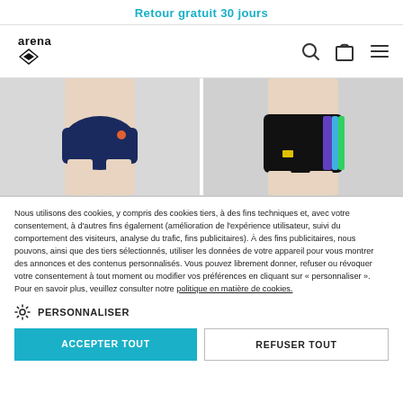Retour gratuit 30 jours
[Figure (logo): Arena logo with diamond shape and brand name]
[Figure (photo): Two product photos of swimwear/swim shorts on models]
Nous utilisons des cookies, y compris des cookies tiers, à des fins techniques et, avec votre consentement, à d'autres fins également (amélioration de l'expérience utilisateur, suivi du comportement des visiteurs, analyse du trafic, fins publicitaires). À des fins publicitaires, nous pouvons, ainsi que des tiers sélectionnés, utiliser les données de votre appareil pour vous montrer des annonces et des contenus personnalisés. Vous pouvez librement donner, refuser ou révoquer votre consentement à tout moment ou modifier vos préférences en cliquant sur « personnaliser ». Pour en savoir plus, veuillez consulter notre politique en matière de cookies.
PERSONNALISER
ACCEPTER TOUT
REFUSER TOUT